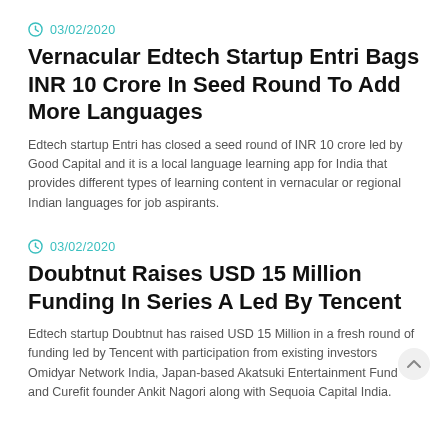03/02/2020
Vernacular Edtech Startup Entri Bags INR 10 Crore In Seed Round To Add More Languages
Edtech startup Entri has closed a seed round of INR 10 crore led by Good Capital and it is a local language learning app for India that provides different types of learning content in vernacular or regional Indian languages for job aspirants.
03/02/2020
Doubtnut Raises USD 15 Million Funding In Series A Led By Tencent
Edtech startup Doubtnut has raised USD 15 Million in a fresh round of funding led by Tencent with participation from existing investors Omidyar Network India, Japan-based Akatsuki Entertainment Fund and Curefit founder Ankit Nagori along with Sequoia Capital India.